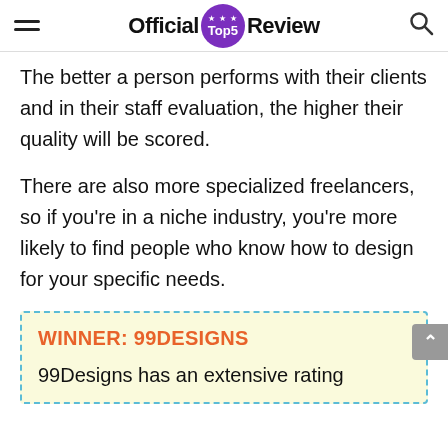Official Top5 Review
The better a person performs with their clients and in their staff evaluation, the higher their quality will be scored.
There are also more specialized freelancers, so if you're in a niche industry, you're more likely to find people who know how to design for your specific needs.
WINNER: 99DESIGNS
99Designs has an extensive rating